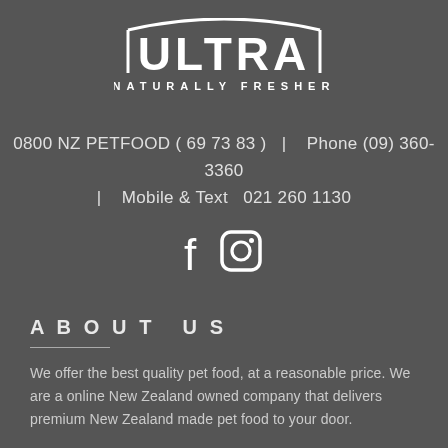[Figure (logo): Ultra Naturally Fresher logo — bold white block letters on dark background with an arch over 'ULTRA' and 'NATURALLY FRESHER' below]
0800 NZ PETFOOD ( 69 73 83 )  |  Phone (09) 360-3360 | Mobile & Text  021 260 1130
[Figure (illustration): Facebook and Instagram social media icons in white]
ABOUT US
We offer the best quality pet food, at a reasonable price. We are a online New Zealand owned company that delivers premium New Zealand made pet food to your door.
NZ DELIVERY